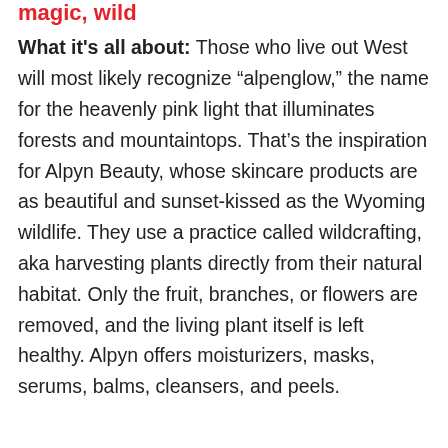magic, wild
What it's all about: Those who live out West will most likely recognize “alpenglow,” the name for the heavenly pink light that illuminates forests and mountaintops. That’s the inspiration for Alpyn Beauty, whose skincare products are as beautiful and sunset-kissed as the Wyoming wildlife. They use a practice called wildcrafting, aka harvesting plants directly from their natural habitat. Only the fruit, branches, or flowers are removed, and the living plant itself is left healthy. Alpyn offers moisturizers, masks, serums, balms, cleansers, and peels.